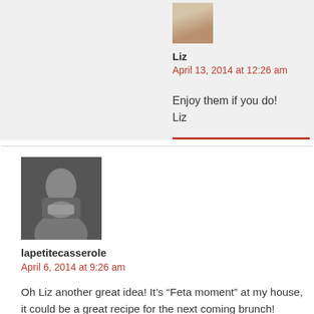[Figure (photo): Small avatar thumbnail of food/recipe image with warm brown tones]
Liz
April 13, 2014 at 12:26 am
Enjoy them if you do!
Liz
[Figure (photo): Black and white photo of a person covering their mouth with their hand]
lapetitecasserole
April 6, 2014 at 9:26 am
Oh Liz another great idea! It’s “Feta moment” at my house, it could be a great recipe for the next coming brunch!